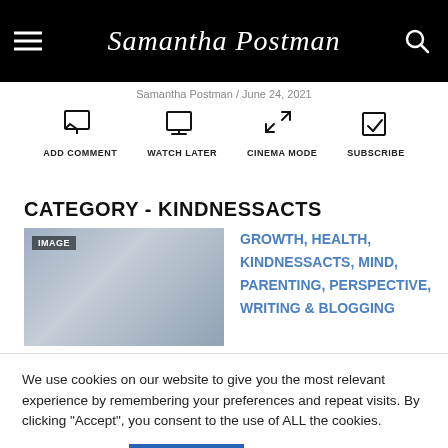Samantha Postman
Samantha Postman / June 24, 2021
ADD COMMENT  WATCH LATER  CINEMA MODE  SUBSCRIBE
CATEGORY - KINDNESSACTS
[Figure (photo): Woman holding two face masks on sticks, one smiling and one sad, with IMAGE label overlay]
GROWTH, HEALTH, KINDNESSACTS, MIND, PARENTING, PERSPECTIVE, WRITING & BLOGGING
We use cookies on our website to give you the most relevant experience by remembering your preferences and repeat visits. By clicking "Accept", you consent to the use of ALL the cookies.
Cookie settings  ACCEPT